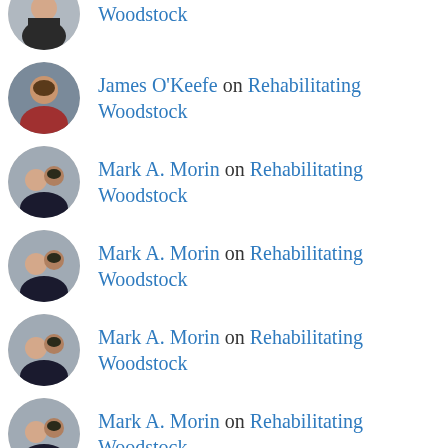[avatar] on Rehabilitating Woodstock
James O'Keefe on Rehabilitating Woodstock
Mark A. Morin on Rehabilitating Woodstock
Mark A. Morin on Rehabilitating Woodstock
Mark A. Morin on Rehabilitating Woodstock
Mark A. Morin on Rehabilitating Woodstock
Matt on Rehabilitating Woodstock